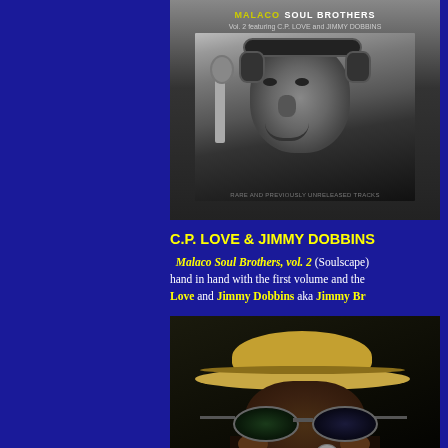[Figure (photo): Album cover for Malaco Soul Brothers Vol. 2 featuring C.P. Love and Jimmy Dobbins — black and white photo of a man in headphones at a microphone]
C.P. LOVE & JIMMY DOBBINS
Malaco Soul Brothers, vol. 2 (Soulscape) goes hand in hand with the first volume and the... Love and Jimmy Dobbins aka Jimmy Br...
[Figure (photo): Color photo of a man wearing a tan/straw hat and large sunglasses, smiling and singing into a microphone]